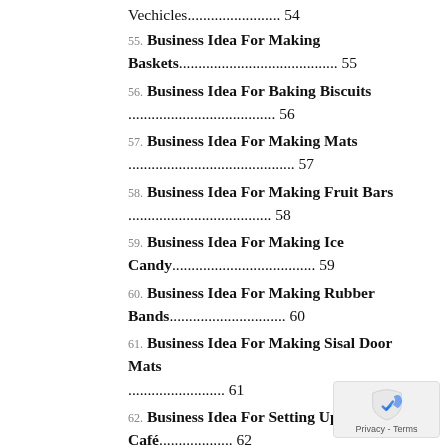Vechicles........................ 54
55. Business Idea For Making Baskets........................................ 55
56. Business Idea For Baking Biscuits ....................................... 56
57. Business Idea For Making Mats .......................................... 57
58. Business Idea For Making Fruit Bars .................................... 58
59. Business Idea For Making Ice Candy..................................... 59
60. Business Idea For Making Rubber Bands.............................. 60
61. Business Idea For Making Sisal Door Mats ......................... 61
62. Business Idea For Setting Up An Internet Café................... 62
63. Business Idea For Setting Up Video...